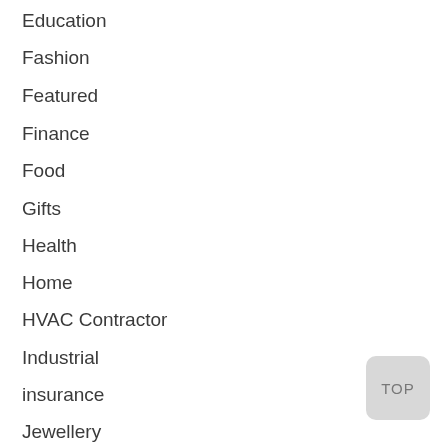Education
Fashion
Featured
Finance
Food
Gifts
Health
Home
HVAC Contractor
Industrial
insurance
Jewellery